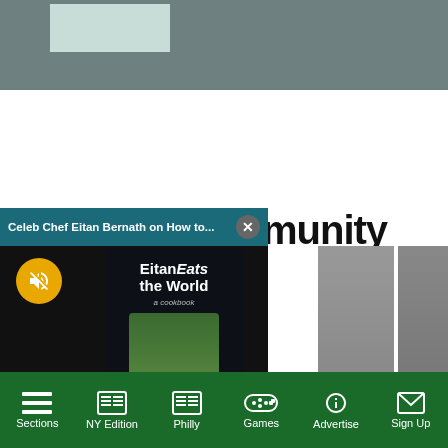[Figure (screenshot): Gray placeholder image area at top of webpage with light teal/mint inset rectangle]
[Figure (screenshot): Video popup overlay showing 'Celeb Chef Eitan Bernath on How to...' with book cover 'Eitan Eats the World' cookbook, mute button (yellow circle with speaker icon), and close button (X)]
...munity
[Figure (photo): Partially visible card showing person in blue polo shirt (sports context)]
[Figure (photo): Partially visible card with 'Chiefs' text overlay]
Sections  NY Edition  Philly  Games  Advertise  Sign Up